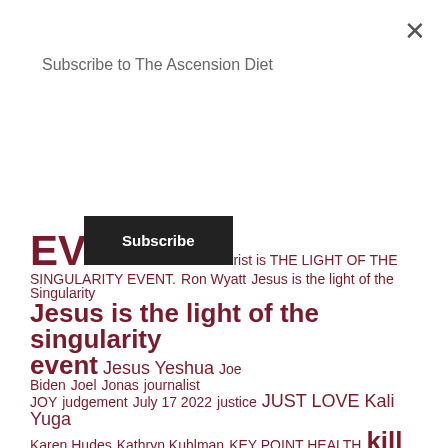Subscribe to The Ascension Diet
Subscribe
EVENT Jesus Christ is THE LIGHT OF THE SINGULARITY EVENT.Ron Wyatt Jesus is the light of the Singularity Jesus is the light of the singularity event Jesus Yeshua Joe Biden Joel Jonas journalist JOY judgement July 17 2022 justice JUST LOVE Kali Yuga Karen Hudes Kathryn Kuhlman KEY POINT HEALTH kill grid killswitch kindle Kingdom of Heaven knowledge know the enemy kolbrin Kolbrin Bible kombucha Kukulcan lamb lamb of God language La Quinta Columna last chance Last Days Laura Brooks Laura Rohrer Little Brooks Laura Rohrer Little Brooks Ps. Law Law of Love leave the soul